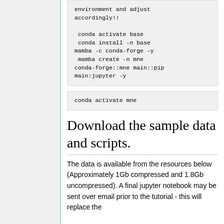[Figure (other): Left sidebar navigation panel with light blue vertical border line]
environment and adjust accordingly!!

 conda activate base
 conda install -n base mamba -c conda-forge -y
 mamba create -n mne conda-forge::mne main::pip main:jupyter -y
conda activate mne
Download the sample data and scripts.
The data is available from the resources below (Approximately 1Gb compressed and 1.8Gb uncompressed). A final jupyter notebook may be sent over email prior to the tutorial - this will replace the